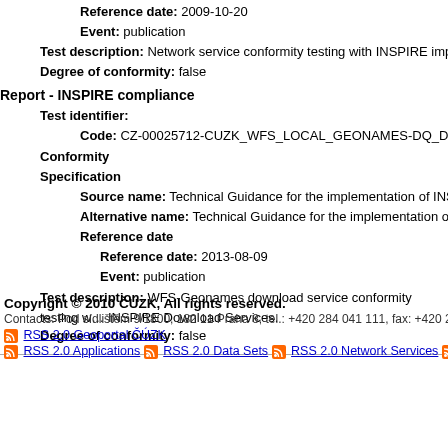Reference date: 2009-10-20
Event: publication
Test description: Network service conformity testing with INSPIRE imple...
Degree of conformity: false
Report - INSPIRE compliance
Test identifier:
Code: CZ-00025712-CUZK_WFS_LOCAL_GEONAMES-DQ_Domai...
Conformity
Specification
Source name: Technical Guidance for the implementation of INSPIRE...
Alternative name: Technical Guidance for the implementation of INS...
Reference date
Reference date: 2013-08-09
Event: publication
Test description: WFS-Geonames download service conformity testing with INSPIRE Download Services.
Degree of conformity: false
Copyright © 2010 ČÚZK, All rights reserved. Contacts: Pod sídlištěm 9/1800, 182 11 Praha 8, tel.: +420 284 041 111, fax: +420 284 0... RSS 2.0 Geoportal ČÚZK | RSS 2.0 Applications | RSS 2.0 Data Sets | RSS 2.0 Network Services | RSS...